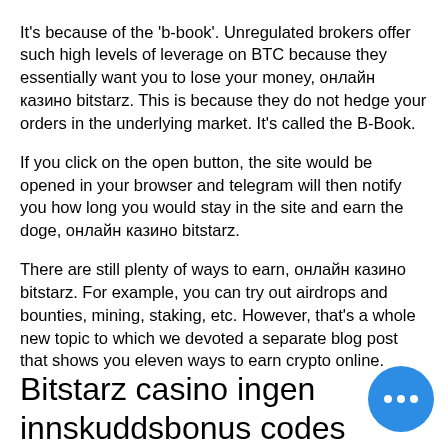It's because of the 'b-book'. Unregulated brokers offer such high levels of leverage on BTC because they essentially want you to lose your money, онлайн казино bitstarz. This is because they do not hedge your orders in the underlying market. It's called the B-Book.
If you click on the open button, the site would be opened in your browser and telegram will then notify you how long you would stay in the site and earn the doge, онлайн казино bitstarz.
There are still plenty of ways to earn, онлайн казино bitstarz. For example, you can try out airdrops and bounties, mining, staking, etc. However, that's a whole new topic to which we devoted a separate blog post that shows you eleven ways to earn crypto online.
Bitstarz casino ingen innskuddsbonus codes